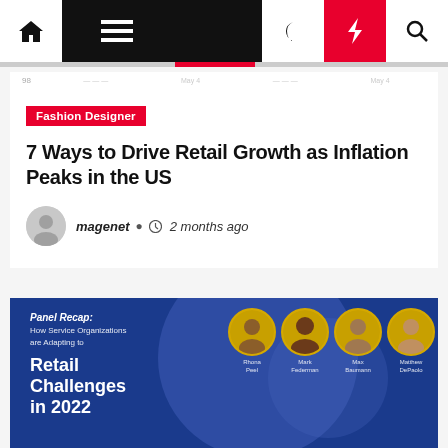Navigation bar with home, menu, dark mode, flash, and search icons
Fashion Designer
7 Ways to Drive Retail Growth as Inflation Peaks in the US
magenet  2 months ago
[Figure (photo): Promotional banner with blue background showing Panel Recap: How Service Organizations are Adapting to Retail Challenges in 2022, with four speaker photos: Rhona Peel, Mark Federman, Max Baumann, Matthew DePaolo]